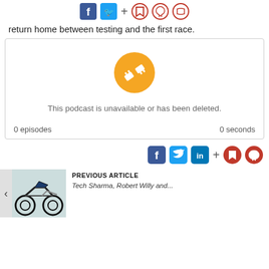[Figure (infographic): Top social sharing bar with Facebook, Twitter, plus sign, bookmark, notification, and comment circle icons]
return home between testing and the first race.
[Figure (infographic): Podcast embed box showing a disconnected plug icon with message 'This podcast is unavailable or has been deleted.' Footer shows '0 episodes' on left and '0 seconds' on right.]
[Figure (infographic): Bottom social sharing bar with Facebook, Twitter, LinkedIn, plus sign, and two red circle icons (bookmark, notification)]
[Figure (infographic): Previous article navigation showing a motorcycle image with arrow, labeled PREVIOUS ARTICLE]